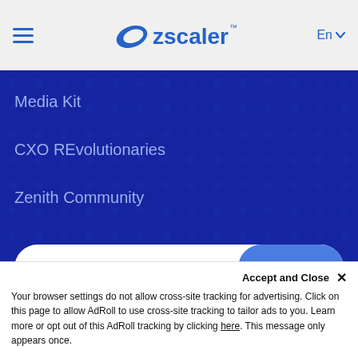[Figure (logo): Zscaler logo with stylized blue swoosh and wordmark]
Media Kit
CXO REvolutionaries
Zenith Community
[Figure (other): Email subscribe form with EMAIL ADDRESS placeholder and blue Subscribe button]
[Figure (other): Social media icons row: Facebook, LinkedIn, YouTube, Twitter]
SITEMAP
Accept and Close ✕
Your browser settings do not allow cross-site tracking for advertising. Click on this page to allow AdRoll to use cross-site tracking to tailor ads to you. Learn more or opt out of this AdRoll tracking by clicking here. This message only appears once.